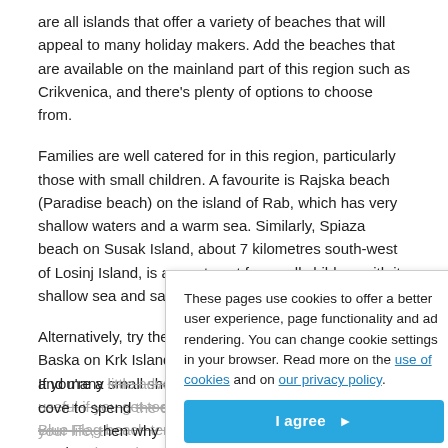are all islands that offer a variety of beaches that will appeal to many holiday makers. Add the beaches that are available on the mainland part of this region such as Crikvenica, and there's plenty of options to choose from.
Families are well catered for in this region, particularly those with small children. A favourite is Rajska beach (Paradise beach) on the island of Rab, which has very shallow waters and a warm sea. Similarly, Spiaza beach on Susak Island, about 7 kilometres south-west of Losinj Island, is a great spot for small children with its shallow sea and sandy beach.
Alternatively, try the ever popular Vela Plaza beach in Baska on Krk Island, which has a lovely promenade and many small shops and restaurants to to explore, useful if you get too hot sitting by the Blue Flag beach. Blue Flag beach tends to be particularly popular at weekends, and Sunday, especially a Sunday in high season will be very crowded.
These pages use cookies to offer a better user experience, page functionality and ad rendering. You can change cookie settings in your browser. Read more on the use of cookies and on our privacy policy.
If you're a little adventurous and want to find a secluded cove to spend the day with that special someone in your life, then why